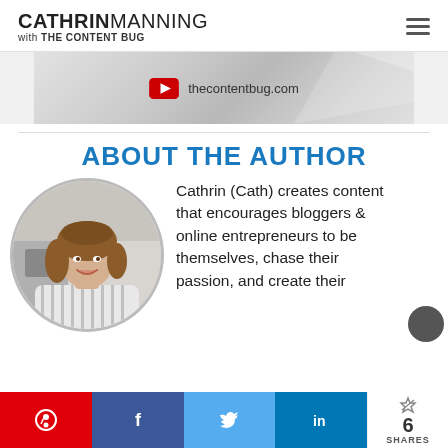CATHRIN MANNING with THE CONTENT BUG
[Figure (screenshot): YouTube channel banner thumbnail showing thecontentbug.com text and YouTube play button icon on a grey gradient background]
ABOUT THE AUTHOR
[Figure (photo): Circular profile photo of Cathrin (Cath) Manning, a young woman with long brown wavy hair, smiling, wearing a striped blouse]
Cathrin (Cath) creates content that encourages bloggers & online entrepreneurs to be themselves, chase their passion, and create their
Pinterest | Facebook | Twitter | LinkedIn | 6 SHARES